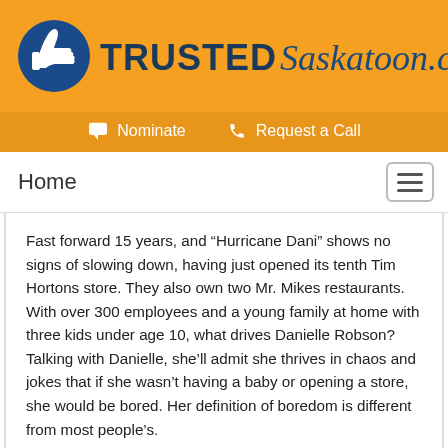[Figure (logo): TrustedSaskatoon.com logo with thumbs-up icon on orange background]
Nominate   Request a Call
Home
Fast forward 15 years, and “Hurricane Dani” shows no signs of slowing down, having just opened its tenth Tim Hortons store. They also own two Mr. Mikes restaurants. With over 300 employees and a young family at home with three kids under age 10, what drives Danielle Robson? Talking with Danielle, she’ll admit she thrives in chaos and jokes that if she wasn’t having a baby or opening a store, she would be bored. Her definition of boredom is different from most people’s.
[Figure (photo): Circular portrait photo of a person, partially visible at bottom of page]